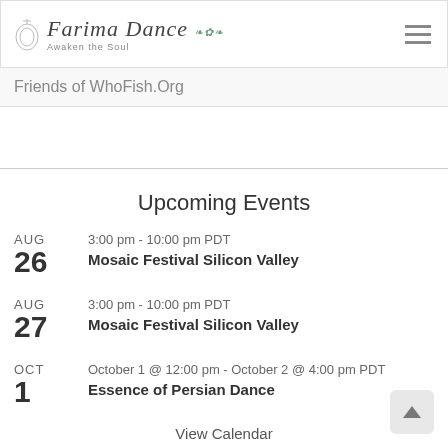Farima Dance — Awaken the Soul
Friends of WhoFish.Org
Upcoming Events
AUG 26 — 3:00 pm - 10:00 pm PDT — Mosaic Festival Silicon Valley
AUG 27 — 3:00 pm - 10:00 pm PDT — Mosaic Festival Silicon Valley
OCT 1 — October 1 @ 12:00 pm - October 2 @ 4:00 pm PDT — Essence of Persian Dance
View Calendar